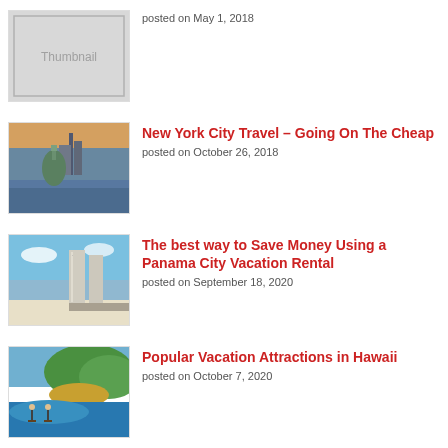[Figure (photo): Thumbnail placeholder image (grey box with 'Thumbnail' text)]
posted on May 1, 2018
[Figure (photo): Statue of Liberty with New York City skyline at dusk]
New York City Travel – Going On The Cheap
posted on October 26, 2018
[Figure (photo): Aerial view of Panama City Beach with tall buildings and sandy beach]
The best way to Save Money Using a Panama City Vacation Rental
posted on September 18, 2020
[Figure (photo): Hawaii landscape with green cliffs, yellow fields, and people paddleboarding]
Popular Vacation Attractions in Hawaii
posted on October 7, 2020
[Figure (photo): Mediterranean coastal scene (partially visible)]
Best 4 Mediterranean Highlights